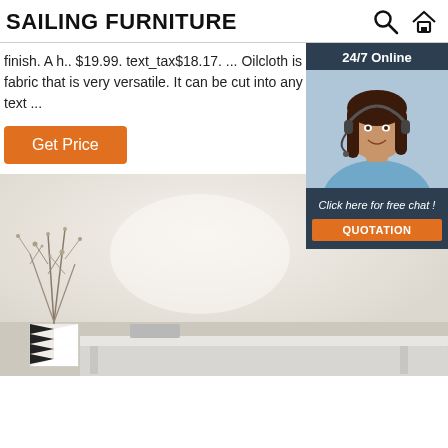SAILING FURNITURE
finish. A h.. $19.99. text_tax$18.17. ... Oilcloth is a highly durable fabric that is very versatile. It can be cut into any shape and d $11.99. text ...
Get Price
[Figure (photo): Customer service representative wearing a headset, smiling. Dark-paneled chat widget overlay with '24/7 Online' header, photo of agent, 'Click here for free chat!' text, and orange QUOTATION button.]
[Figure (photo): Interior room photo showing a minimalist white/beige room with a decorative branch vase on the left and a white desk/table in the foreground.]